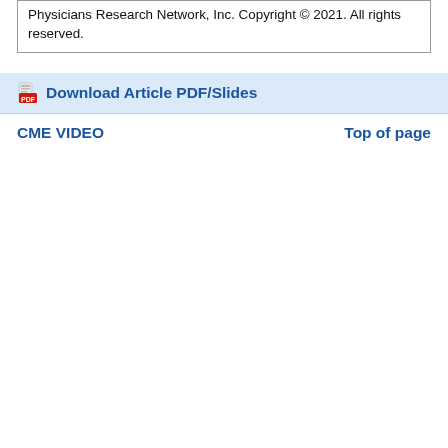Physicians Research Network, Inc. Copyright © 2021. All rights reserved.
Download Article PDF/Slides
CME VIDEO                              Top of page